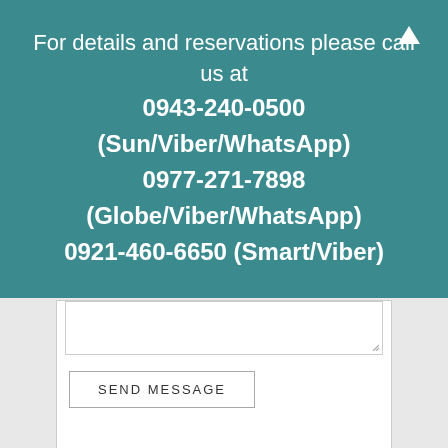For details and reservations please call us at
0943-240-0500 (Sun/Viber/WhatsApp)
0977-271-7898 (Globe/Viber/WhatsApp)
0921-460-6650 (Smart/Viber)
[Figure (screenshot): A form section with a textarea and SEND MESSAGE button, followed by a SHARE section with social media icons for Facebook, Twitter, Pinterest, and Email.]